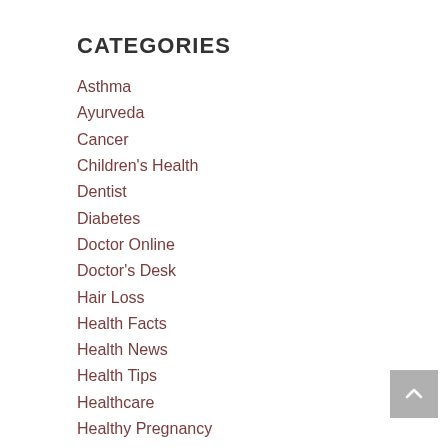CATEGORIES
Asthma
Ayurveda
Cancer
Children's Health
Dentist
Diabetes
Doctor Online
Doctor's Desk
Hair Loss
Health Facts
Health News
Health Tips
Healthcare
Healthy Pregnancy
Heart Health
Living Healthy
Lybrate
Men's Health
Mental Health